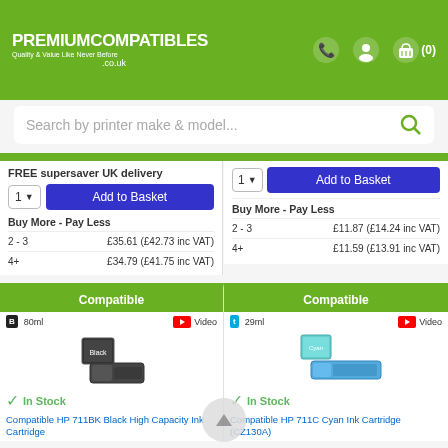[Figure (logo): PremiumCompatibles.co.uk logo with phone, user, and basket icons on green header bar]
Search by printer make & model...
FREE supersaver UK delivery
Add to Basket
Buy More - Pay Less
| Qty | Price |
| --- | --- |
| 2 - 3 | £35.61 (£42.73 inc VAT) |
| 4+ | £34.79 (£41.75 inc VAT) |
Add to Basket
Buy More - Pay Less
| Qty | Price |
| --- | --- |
| 2 - 3 | £11.87 (£14.24 inc VAT) |
| 4+ | £11.59 (£13.91 inc VAT) |
Compatible
80ml  Video
[Figure (photo): Compatible HP 711BK black ink cartridge product photo]
In Stock
Compatible HP 711BK Black High Capacity Ink Cartridge
Compatible
29ml  Video
[Figure (photo): Compatible HP 711C Cyan ink cartridge product photo]
In Stock
Compatible HP 711C Cyan Ink Cartridge (CZ130A)